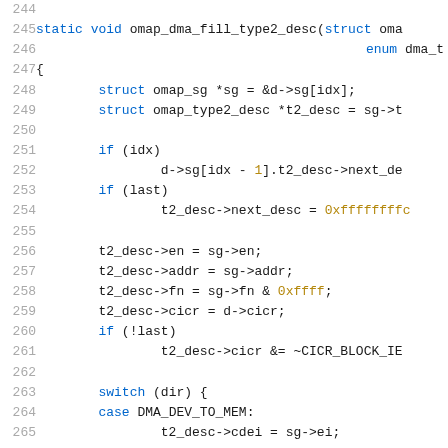[Figure (screenshot): Source code listing showing lines 244-265 of a C function 'omap_dma_fill_type2_desc'. The code includes struct declarations, if/switch statements, and field assignments with hex literals. Line numbers are shown in grey on the left.]